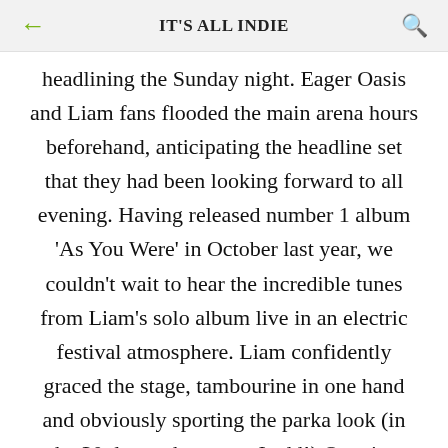IT'S ALL INDIE
headlining the Sunday night. Eager Oasis and Liam fans flooded the main arena hours beforehand, anticipating the headline set that they had been looking forward to all evening. Having released number 1 album 'As You Were' in October last year, we couldn't wait to hear the incredible tunes from Liam's solo album live in an electric festival atmosphere. Liam confidently graced the stage, tambourine in one hand and obviously sporting the parka look (in the 30 degree heat may I add!) Opening with 'Rock'n'Roll Star', Liam immediately got the